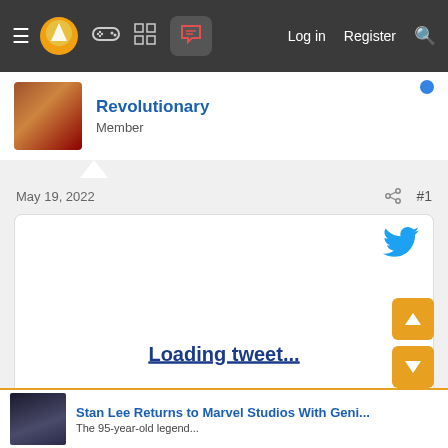Navigation bar with hamburger menu, logo, gaming icon, grid icon, chat icon (active), Log in, Register, Search
Revolutionary
Member
May 19, 2022  #1
[Figure (screenshot): Embedded tweet placeholder with Twitter bird logo and 'Loading tweet...' link text]
Stan Lee Returns to Marvel Studios With Geni...
The 95-year-old legend...